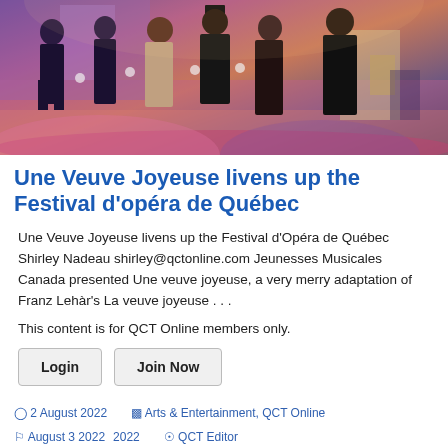[Figure (photo): Theater performance photo showing performers in period costumes on a colorful stage set, performing what appears to be an opera or musical.]
Une Veuve Joyeuse livens up the Festival d'opéra de Québec
Une Veuve Joyeuse livens up the Festival d'Opéra de Québec Shirley Nadeau shirley@qctonline.com Jeunesses Musicales Canada presented Une veuve joyeuse, a very merry adaptation of Franz Lehàr's La veuve joyeuse . . .
This content is for QCT Online members only.
Login   Join Now
2 August 2022   Arts & Entertainment, QCT Online   August 3 2022   QCT Editor